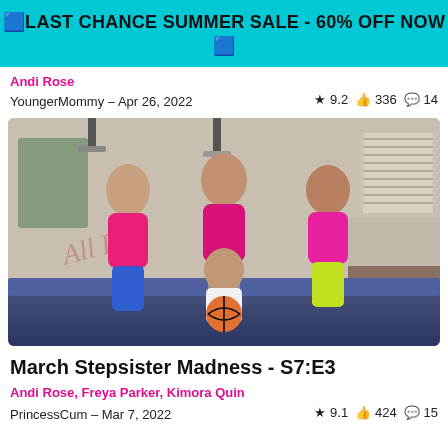🟦LAST CHANCE SUMMER SALE - 60% OFF NOW 🟦
Andi Rose
YoungerMommy – Apr 26, 2022   ★ 9.2  👍 336  💬 14
[Figure (photo): Thumbnail image for adult video 'March Stepsister Madness S7:E3' showing three women in pink crop tops and athletic wear standing around a young man on a couch holding a basketball.]
March Stepsister Madness - S7:E3
Andi Rose, Freya Parker, Kimora Quin
PrincessCum – Mar 7, 2022   ★ 9.1  👍 424  💬 15